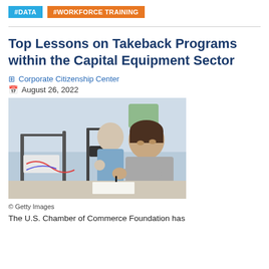#DATA  #WORKFORCE TRAINING
Top Lessons on Takeback Programs within the Capital Equipment Sector
Corporate Citizenship Center
August 26, 2022
[Figure (photo): Two people working with industrial/lab equipment, one in foreground writing notes, one in background. Industrial machinery and electronics visible.]
© Getty Images
The U.S. Chamber of Commerce Foundation has